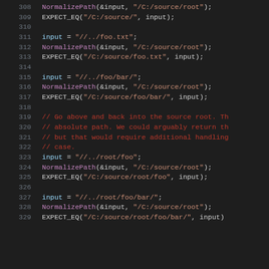Code snippet showing C++ unit test lines 308-329 with NormalizePath and EXPECT_EQ calls